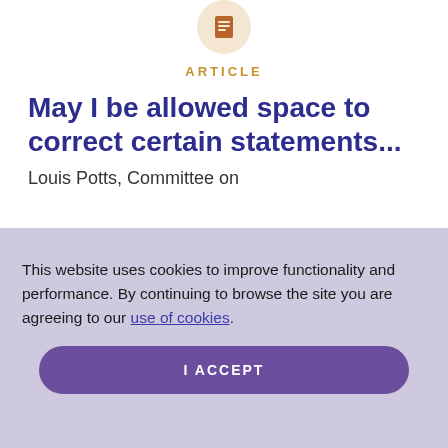[Figure (illustration): An icon of a document/article inside a peach-colored circle]
ARTICLE
May I be allowed space to correct certain statements...
Louis Potts, Committee on
This website uses cookies to improve functionality and performance. By continuing to browse the site you are agreeing to our use of cookies.
I ACCEPT